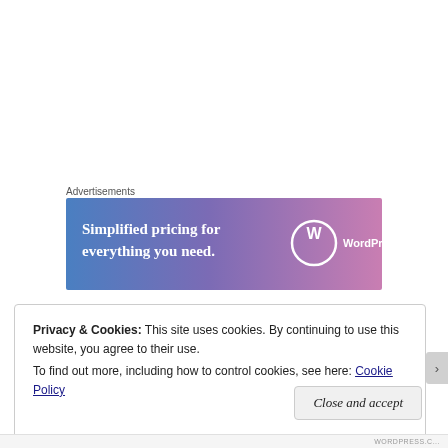Advertisements
[Figure (other): WordPress.com advertisement banner with gradient background (blue to purple to pink). Text reads: 'Simplified pricing for everything you need.' with WordPress.com logo on the right.]
Privacy & Cookies: This site uses cookies. By continuing to use this website, you agree to their use.
To find out more, including how to control cookies, see here: Cookie Policy
Close and accept